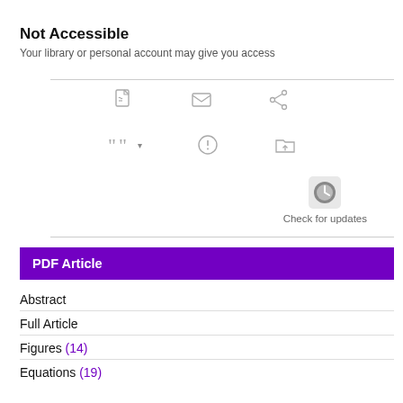Not Accessible
Your library or personal account may give you access
[Figure (screenshot): Row of action icons: PDF download, email, share]
[Figure (screenshot): Row of action icons: cite (with dropdown arrow), alert (circle-exclamation), save to folder]
[Figure (screenshot): Check for updates button with circular icon]
PDF Article
Abstract
Full Article
Figures (14)
Equations (19)